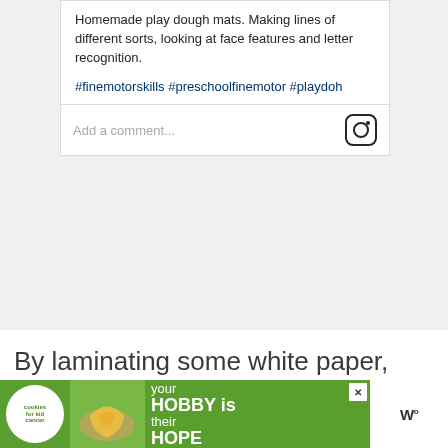Homemade play dough mats. Making lines of different sorts, looking at face features and letter recognition.
#finemotorskills #preschoolfinemotor #playdoh
Add a comment...
By laminating some white paper, you can create some homemade playdoh mats in a flash. Draw shapes and lines on the mats and let kids roll out playdoh ropes and lay them along the outline. Dough activities are fun and colorful, and can
[Figure (screenshot): Advertisement banner for cookies for kid cancer charity with green background showing 'your HOBBY is their HOPE' text and a hands holding a heart cookie image]